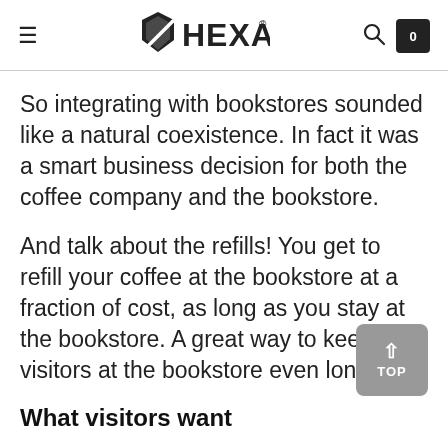HEXA
So integrating with bookstores sounded like a natural coexistence. In fact it was a smart business decision for both the coffee company and the bookstore.
And talk about the refills! You get to refill your coffee at the bookstore at a fraction of cost, as long as you stay at the bookstore. A great way to keep the visitors at the bookstore even longer.
What visitors want